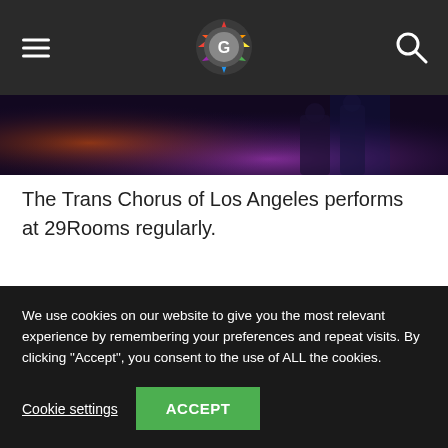Navigation bar with hamburger menu, logo, and search icon
[Figure (photo): Concert photo strip showing Trans Chorus of Los Angeles performing at 29Rooms, with purple and red stage lighting]
The Trans Chorus of Los Angeles performs at 29Rooms regularly.
Image: BRITTANY LEVINE BECKMAN/MASHABLE
29Rooms also features a game show–inspired
We use cookies on our website to give you the most relevant experience by remembering your preferences and repeat visits. By clicking "Accept", you consent to the use of ALL the cookies.